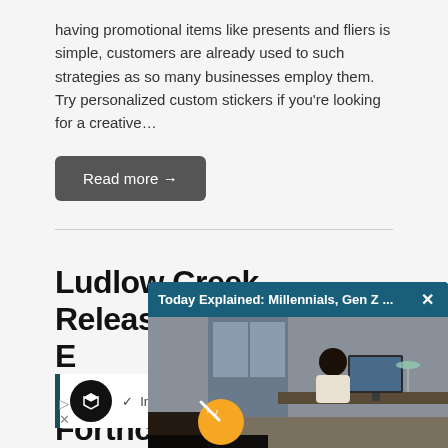having promotional items like presents and fliers is simple, customers are already used to such strategies as so many businesses employ them. Try personalized custom stickers if you’re looking for a creative…
Read more →
Ludlow Creek Releases Third Single From Forthcom…
by Skope • August 20…
[Figure (screenshot): Popup overlay showing 'Today Explained: Millennials, Gen Z ...' with a video thumbnail of a person working at a desk in an office environment. A yellow mute button is visible.]